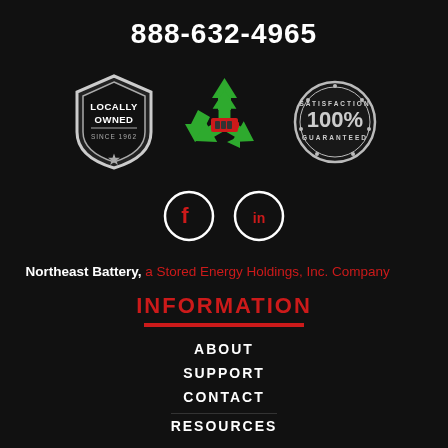888-632-4965
[Figure (illustration): Three badges: Locally Owned Since 1962 shield badge, Battery recycling symbol with battery, and 100% Satisfaction Guaranteed stamp]
[Figure (illustration): Facebook and LinkedIn social media icons in white circles]
Northeast Battery, a Stored Energy Holdings, Inc. Company
INFORMATION
ABOUT
SUPPORT
CONTACT
RESOURCES